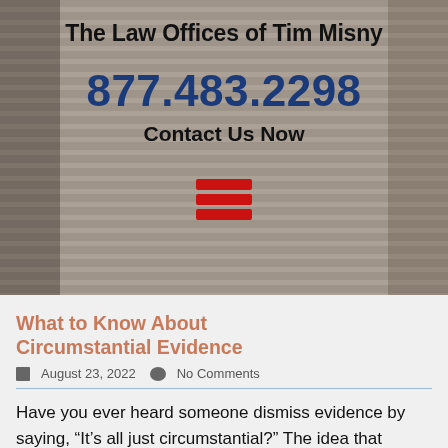The Law Offices of Tim Misny
877.483.2298
Contact Us Now
[Figure (other): Hamburger menu icon with three red horizontal bars]
What to Know About Circumstantial Evidence
August 23, 2022   No Comments
Have you ever heard someone dismiss evidence by saying, “It’s all just circumstantial?” The idea that circumstantial evidence is inferior or inadmissible is a common …
Read More →